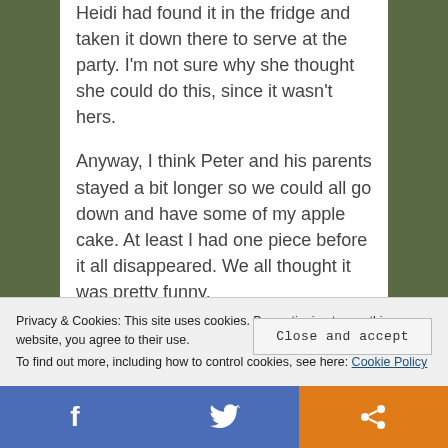Heidi had found it in the fridge and taken it down there to serve at the party.  I'm not sure why she thought she could do this, since it wasn't hers.
Anyway, I think Peter and his parents stayed a bit longer so we could all go down and have some of my apple cake.  At least I had one piece before it all disappeared.  We all thought it was pretty funny.
***
Around this time, I met Julie's boyfriend,
Privacy & Cookies: This site uses cookies. By continuing to use this website, you agree to their use.
To find out more, including how to control cookies, see here: Cookie Policy
Close and accept